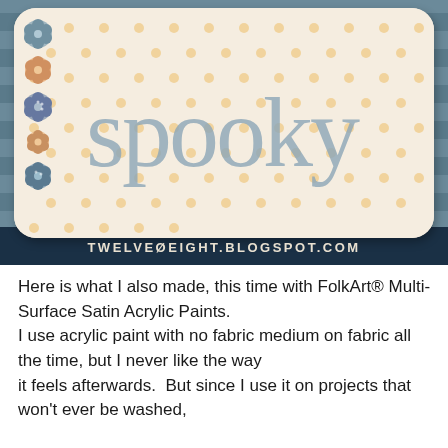[Figure (photo): A decorative pillow with cream/white fabric featuring orange polka dots, with the word 'spooky' stenciled in grey-blue letters. Fabric rosette flowers in peach and blue-grey colors are arranged along the left side of the pillow. The pillow rests against a grey wooden background. A watermark reads 'TWELVEØEIGHT.BLOGSPOT.COM' at the bottom of the image.]
Here is what I also made, this time with FolkArt® Multi-Surface Satin Acrylic Paints.
I use acrylic paint with no fabric medium on fabric all the time, but I never like the way
it feels afterwards.  But since I use it on projects that won't ever be washed,